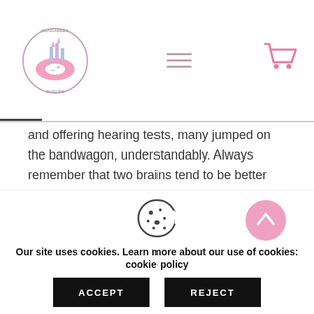Dungarees Donuts - navigation header with logo, hamburger menu, and cart icon
and offering hearing tests, many jumped on the bandwagon, understandably. Always remember that two brains tend to be better than one, so open the floor for your team to think up some great ideas. If you can all figure out an innovative service that will give people a reason to visit you over any other, then you've accomplished this step. Otherwise, the second-best option here is to make sure you offer as good a service as your competitors until
Our site uses cookies. Learn more about our use of cookies: cookie policy
ACCEPT
REJECT